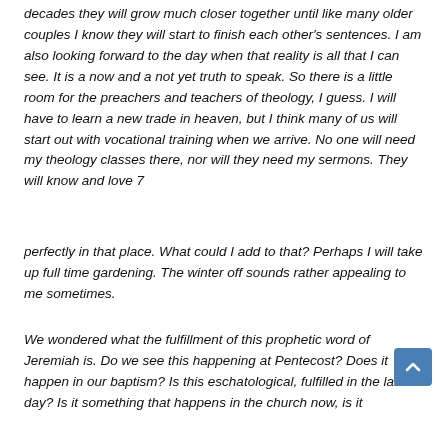decades they will grow much closer together until like many older couples I know they will start to finish each other's sentences. I am also looking forward to the day when that reality is all that I can see. It is a now and a not yet truth to speak. So there is a little room for the preachers and teachers of theology, I guess. I will have to learn a new trade in heaven, but I think many of us will start out with vocational training when we arrive. No one will need my theology classes there, nor will they need my sermons. They will know and love 7
perfectly in that place. What could I add to that? Perhaps I will take up full time gardening. The winter off sounds rather appealing to me sometimes.
We wondered what the fulfillment of this prophetic word of Jeremiah is. Do we see this happening at Pentecost? Does it happen in our baptism? Is this eschatological, fulfilled in the last day? Is it something that happens in the church now, is it